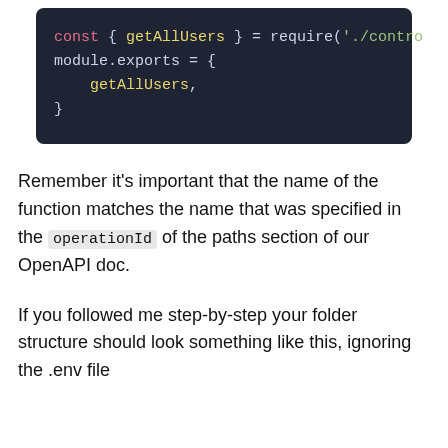[Figure (screenshot): Code block showing JavaScript: const { getAllUsers } = require('./contro...  module.exports = { getAllUsers, }]
Remember it's important that the name of the function matches the name that was specified in the operationId of the paths section of our OpenAPI doc.
If you followed me step-by-step your folder structure should look something like this, ignoring the .env file